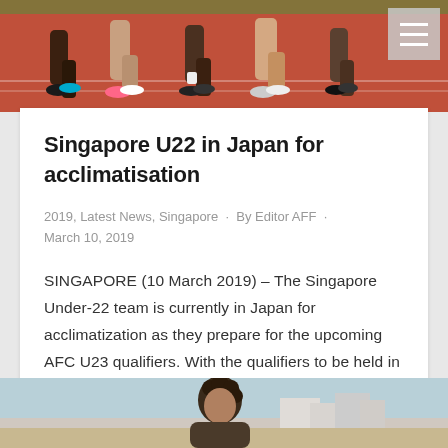[Figure (photo): Athletes running on a red track, visible from waist down showing legs and running shoes]
Singapore U22 in Japan for acclimatisation
2019, Latest News, Singapore · By Editor AFF · March 10, 2019
SINGAPORE (10 March 2019) – The Singapore Under-22 team is currently in Japan for acclimatization as they prepare for the upcoming AFC U23 qualifiers. With the qualifiers to be held in Mongolia on 22-26 March 2019, the Young Lions will need to get accustomed to cooler conditions. Singapore are drawn in Group G against DPR…
[Figure (photo): Partial view of a person with curly hair outdoors, buildings visible in background]